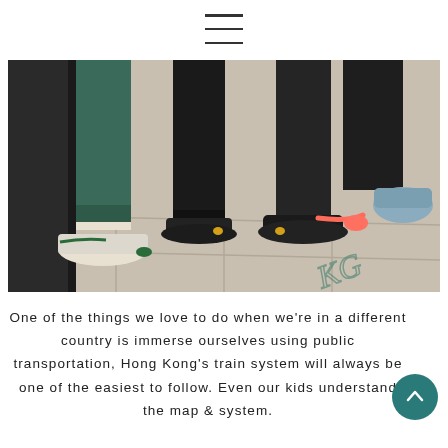≡
[Figure (photo): Close-up photo of three people's legs and sneakers standing on a tiled floor. One person wears green rolled-up jeans with white Adidas Stan Smith shoes, another wears dark joggers with dark sneakers, and a third wears dark pants with Nike sneakers with pink/coral accents. A stylized KG signature watermark is visible in the bottom right corner.]
One of the things we love to do when we're in a different country is immerse ourselves using public transportation, Hong Kong's train system will always be one of the easiest to follow. Even our kids understand the map & system.